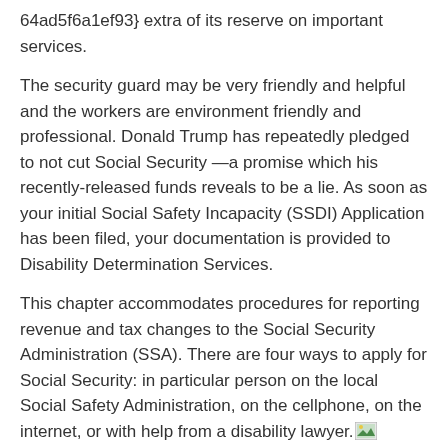64ad5f6a1ef93} extra of its reserve on important services.
The security guard may be very friendly and helpful and the workers are environment friendly and professional. Donald Trump has repeatedly pledged to not cut Social Security —a promise which his recently-released funds reveals to be a lie. As soon as your initial Social Safety Incapacity (SSDI) Application has been filed, your documentation is provided to Disability Determination Services.
This chapter accommodates procedures for reporting revenue and tax changes to the Social Security Administration (SSA). There are four ways to apply for Social Security: in particular person on the local Social Safety Administration, on the cellphone, on the internet, or with help from a disability lawyer.
Just do ...